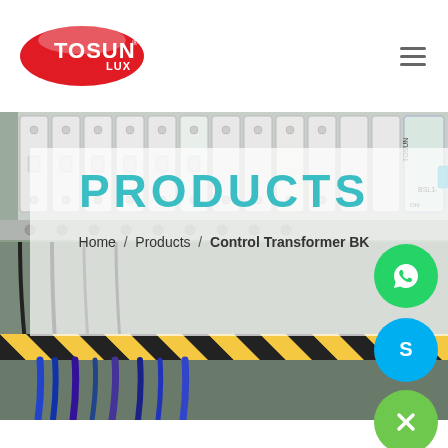[Figure (logo): Tosun Lux logo — red oval with white TOSUN text and LUX in smaller text]
[Figure (photo): Background photo of electrical circuit breaker panel with white DIN-rail mounted breakers, yellow/black warning tape and colored cables at bottom]
PRODUCTS
Home / Products / Control Transformer BK
[Figure (other): WhatsApp contact button — green circle with phone/chat icon]
[Figure (other): Skype contact button — blue circle with S icon]
[Figure (other): Close/dismiss button — green circle with X icon]